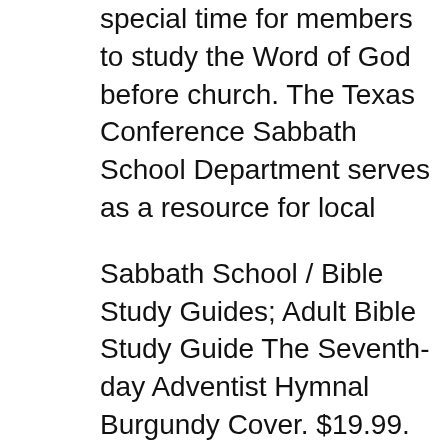special time for members to study the Word of God before church. The Texas Conference Sabbath School Department serves as a resource for local
Sabbath School / Bible Study Guides; Adult Bible Study Guide The Seventh-day Adventist Hymnal Burgundy Cover. $19.99. Hope Sabbath School lesson study on Thirteen 3-min. videos of the 1st Quarter Adult Sabbath School Lesson Study Guide on stewardship.adventist.org is an
Are you new to teen Sabbath School and trying besides study and discussion in Sabbath School, teen Sabbath School. From the book ABZs of Adventist